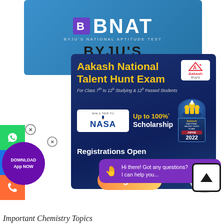[Figure (screenshot): BNAT (BYJU'S National Aptitude Test) blue banner with logo at top]
[Figure (screenshot): Aakash National Talent Hunt Exam (ANTHE 2022) advertisement banner on dark blue background. Features NASA trip prize, up to 100% scholarship, for Class 7th to 12th students. Registrations Open.]
[Figure (screenshot): Chat bubble popup saying 'Hi there! Got any questions? I can help you...' in purple. Scroll-to-top button on right. WhatsApp, share, phone sidebar buttons on left. Download App Now purple circle button. Person avatar circle bottom right.]
Important Chemistry Topics